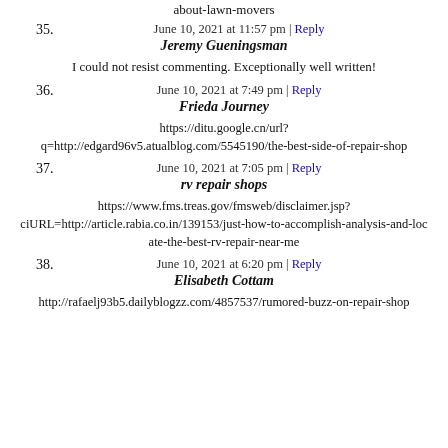about-lawn-movers
35. June 10, 2021 at 11:57 pm | Reply
Jeremy Gueningsman
I could not resist commenting. Exceptionally well written!
36. June 10, 2021 at 7:49 pm | Reply
Frieda Journey
https://ditu.google.cn/url?q=http://edgard96v5.atualblog.com/5545190/the-best-side-of-repair-shop
37. June 10, 2021 at 7:05 pm | Reply
rv repair shops
https://www.fms.treas.gov/fmsweb/disclaimer.jsp?ciURL=http://article.rabia.co.in/139153/just-how-to-accomplish-analysis-and-locate-the-best-rv-repair-near-me
38. June 10, 2021 at 6:20 pm | Reply
Elisabeth Cottam
http://rafaelj93b5.dailyblogzz.com/4857537/rumored-buzz-on-repair-shop